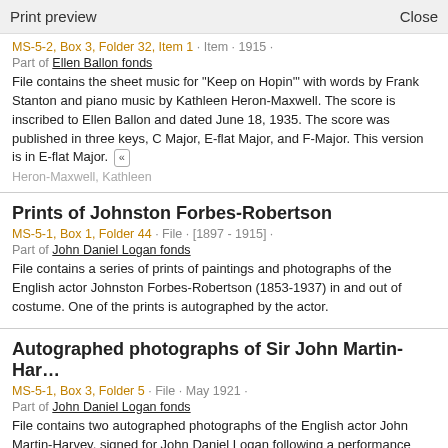Print preview   Close
MS-5-2, Box 3, Folder 32, Item 1 · Item · 1915 ·
Part of Ellen Ballon fonds
File contains the sheet music for "Keep on Hopin'" with words by Frank Stanton and piano music by Kathleen Heron-Maxwell. The score is inscribed to Ellen Ballon and dated June 18, 1935. The score was published in three keys, C Major, E-flat Major, and F-Major. This version is in E-flat Major. «
Heron-Maxwell, Kathleen
Prints of Johnston Forbes-Robertson
MS-5-1, Box 1, Folder 44 · File · [1897 - 1915] ·
Part of John Daniel Logan fonds
File contains a series of prints of paintings and photographs of the English actor Johnston Forbes-Robertson (1853-1937) in and out of costume. One of the prints is autographed by the actor.
Autographed photographs of Sir John Martin-Har...
MS-5-1, Box 3, Folder 5 · File · May 1921 ·
Part of John Daniel Logan fonds
File contains two autographed photographs of the English actor John Martin-Harvey, signed for John Daniel Logan following a performance